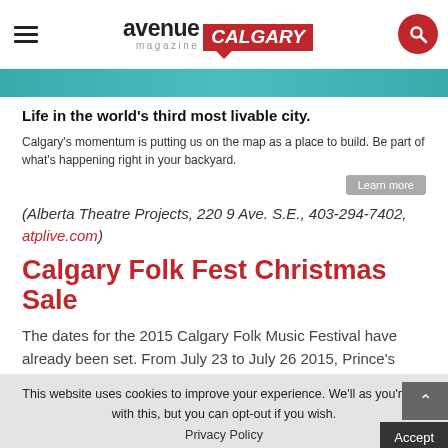avenue magazine CALGARY
[Figure (photo): Partial photo visible at top of page, teal/colored background]
Life in the world’s third most livable city.
Calgary’s momentum is putting us on the map as a place to build. Be part of what’s happening right in your backyard.
(Alberta Theatre Projects, 220 9 Ave. S.E., 403-294-7402, atplive.com)
Calgary Folk Fest Christmas Sale
The dates for the 2015 Calgary Folk Music Festival have already been set. From July 23 to July 26 2015, Prince’s
This website uses cookies to improve your experience. We’ll as you’re ok with this, but you can opt-out if you wish.
Privacy Policy